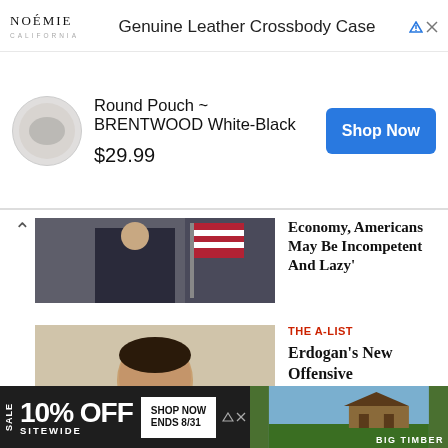[Figure (screenshot): Advertisement banner: NOÉMIE brand, Genuine Leather Crossbody Case, Round Pouch BRENTWOOD White-Black, $29.99, Shop Now button]
[Figure (photo): Partially visible image of a man in suit near American flag - article about Economy]
Economy, Americans May Be Incompetent And Lazy'
[Figure (photo): Photo of Erdogan looking down, wearing blue tie]
THE A-LIST
Erdogan's New Offensive
[Figure (photo): Crowd photo with text overlay: Every one of us, together. Israeli flag visible.]
THE A-LIST
YES, Close The Jewish Agency In Russia
[Figure (photo): Image showing Palestinian and Israeli flags]
THE A-LIST
This Two-State Solution Begins...
[Figure (screenshot): Bottom advertisement: SALE 10% OFF SITEWIDE, SHOP NOW ENDS 8/31, BIG TIMBER brand]